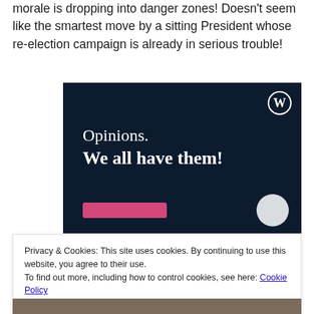morale is dropping into danger zones! Doesn't seem like the smartest move by a sitting President whose re-election campaign is already in serious trouble!
[Figure (illustration): WordPress advertisement banner with dark navy background, WordPress logo (W in circle) top right, white serif text reading 'Opinions. We all have them!', a pink button at bottom left, and a white circle at bottom right.]
Privacy & Cookies: This site uses cookies. By continuing to use this website, you agree to their use.
To find out more, including how to control cookies, see here: Cookie Policy
[Figure (photo): Partial view of a photo showing people's faces at the bottom of the page.]